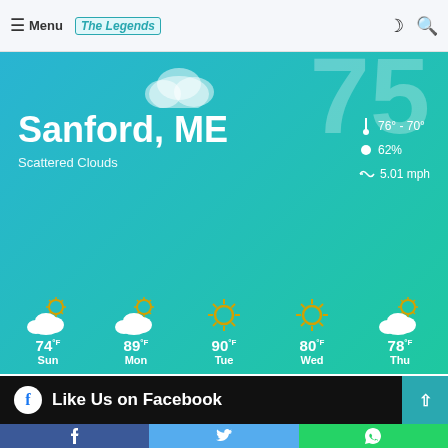≡ Menu | The Legends | ☾ 🔍
[Figure (infographic): Weather widget showing Sanford, ME with Scattered Clouds, temperature 76°-70°, humidity 62%, wind 5.01 mph, and 5-day forecast: Sun 74°F, Mon 89°F, Tue 90°F, Wed 80°F, Thu 78°F]
Sanford, ME
Scattered Clouds
76° - 70°
62%
5.01 mph
74 °F Sun
89 °F Mon
90 °F Tue
80 °F Wed
78 °F Thu
Like Us on Facebook
[Figure (infographic): Social share bar with Facebook, Twitter, and WhatsApp buttons]